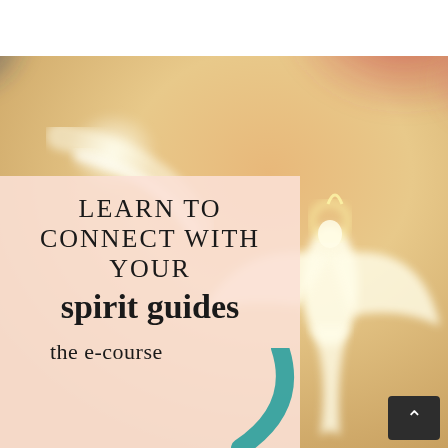[Figure (illustration): Watercolor painting of an angelic figure with white wings and a halo, set against a colorful background of blue, red/pink, and golden-orange hues. The figure appears luminous and ethereal, with raised arms suggesting transcendence.]
LEARN TO CONNECT WITH YOUR spirit guides the e-course